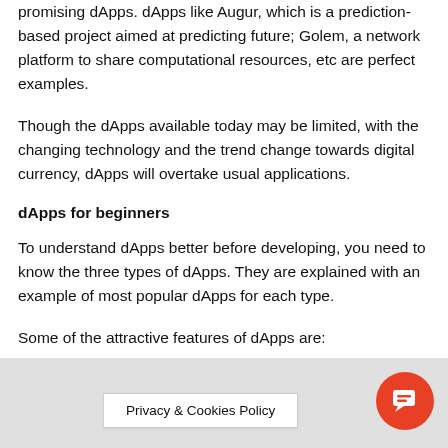promising dApps. dApps like Augur, which is a prediction-based project aimed at predicting future; Golem, a network platform to share computational resources, etc are perfect examples.
Though the dApps available today may be limited, with the changing technology and the trend change towards digital currency, dApps will overtake usual applications.
dApps for beginners
To understand dApps better before developing, you need to know the three types of dApps. They are explained with an example of most popular dApps for each type.
Some of the attractive features of dApps are:
Privacy & Cookies Policy